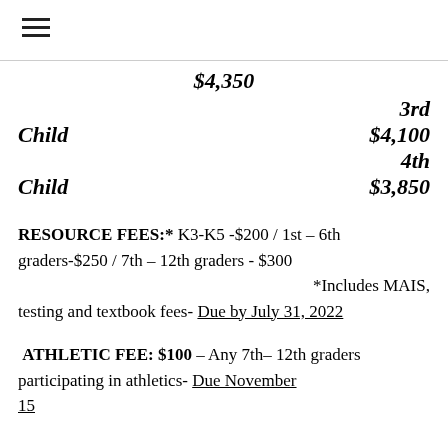$4,350
3rd
Child $4,100
4th
Child $3,850
RESOURCE FEES:* K3-K5 -$200 / 1st – 6th graders-$250 / 7th – 12th graders - $300 *Includes MAIS, testing and textbook fees- Due by July 31, 2022
ATHLETIC FEE: $100 – Any 7th– 12th graders participating in athletics- Due November 15